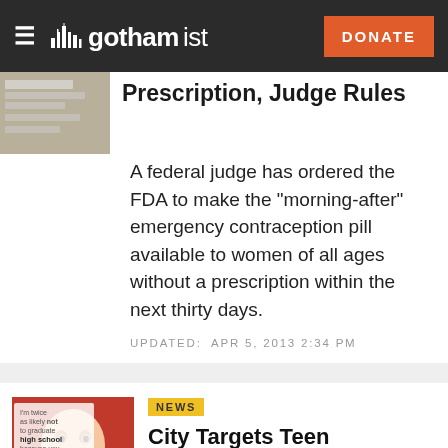gothamist — DONATE
Prescription, Judge Rules
A federal judge has ordered the FDA to make the "morning-after" emergency contraception pill available to women of all ages without a prescription within the next thirty days.
UPDATED:  APR 5, 2013 2:34 PM
NEWS
City Targets Teen Pregnancy In New Ad Campaign
Despite the advances that have